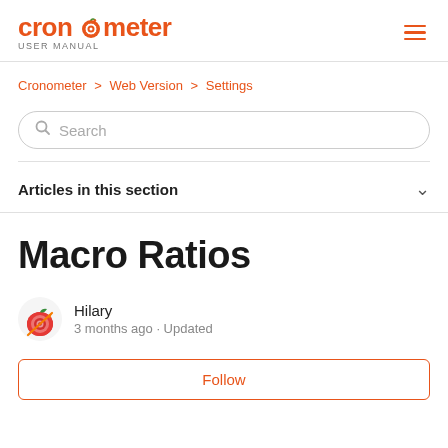cronometer USER MANUAL
Cronometer > Web Version > Settings
Search
Articles in this section
Macro Ratios
Hilary
3 months ago · Updated
Follow